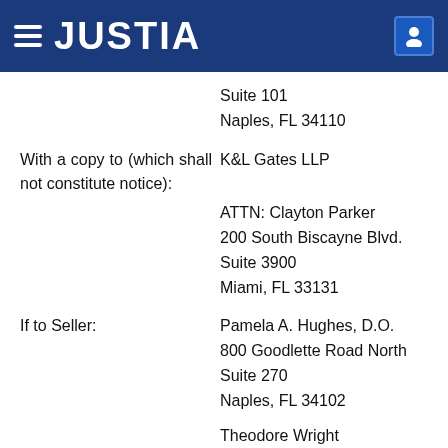JUSTIA
Suite 101
Naples, FL 34110
With a copy to (which shall not constitute notice):
K&L Gates LLP
ATTN: Clayton Parker
200 South Biscayne Blvd.
Suite 3900
Miami, FL 33131
If to Seller:
Pamela A. Hughes, D.O.
800 Goodlette Road North
Suite 270
Naples, FL 34102
Theodore Wright